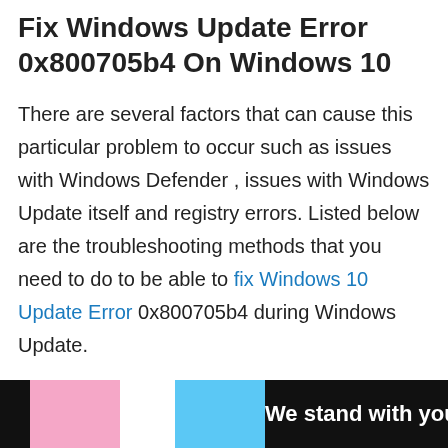Fix Windows Update Error 0x800705b4 On Windows 10
There are several factors that can cause this particular problem to occur such as issues with Windows Defender , issues with Windows Update itself and registry errors. Listed below are the troubleshooting methods that you need to do to be able to fix Windows 10 Update Error 0x800705b4 during Windows Update.
[Figure (other): Advertisement banner at bottom of page with colored stripes (pink, white, blue) and text 'We stand with you.' on black background with a close button and logo]